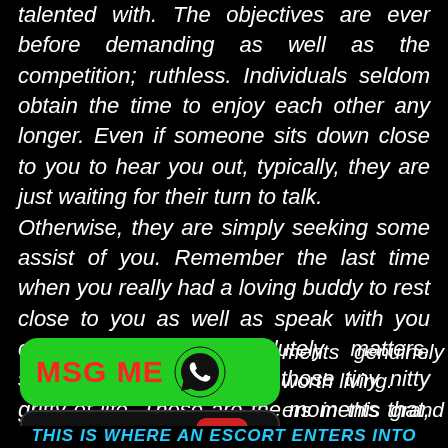talented with. The objectives are ever before demanding as well as the competition; ruthless. Individuals seldom obtain the time to enjoy each other any longer. Even if someone sits down close to you to hear you out, typically, they are just waiting for their turn to talk. Otherwise, they are simply seeking some assist of you. Remember the last time when you really had a loving buddy to rest close to you as well as speak with you concerning what absolutely matters, speak with you about all those tiny nitty gritty of life. Those are the moments that, I
[Figure (infographic): Green rounded button with red text 'MSG ME' and WhatsApp phone icon]
[Figure (infographic): Dark rounded button with red text 'CALL NOW' and red phone icon]
ments genuinely worth living. ers in this grand battle of life
THIS IS WHERE AN ESCORT ENTERS INTO